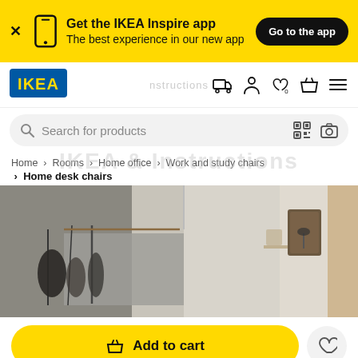[Figure (screenshot): Yellow IKEA app promotion banner with phone icon, text 'Get the IKEA Inspire app / The best experience in our new app', and a black 'Go to the app' button]
[Figure (logo): IKEA logo - blue rectangle with yellow IKEA lettering]
Search for products
Home > Rooms > Home office > Work and study chairs > Home desk chairs
[Figure (photo): Interior room photo showing a home office/attic space with textured wall, hanging items, shelves, wall hanging, and window with curtain]
Add to cart